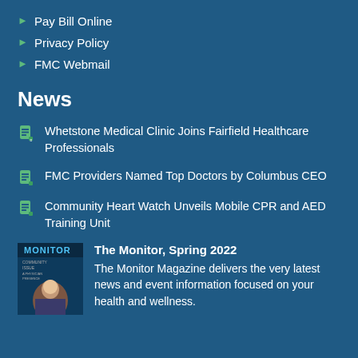Pay Bill Online
Privacy Policy
FMC Webmail
News
Whetstone Medical Clinic Joins Fairfield Healthcare Professionals
FMC Providers Named Top Doctors by Columbus CEO
Community Heart Watch Unveils Mobile CPR and AED Training Unit
[Figure (photo): Cover of The Monitor magazine, Spring 2022, showing a young child]
The Monitor, Spring 2022
The Monitor Magazine delivers the very latest news and event information focused on your health and wellness.